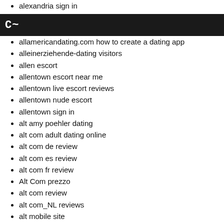alexandria sign in
all payday loans
C~
allamericandating.com how to create a dating app
alleinerziehende-dating visitors
allen escort
allentown escort near me
allentown live escort reviews
allentown nude escort
allentown sign in
alt amy poehler dating
alt com adult dating online
alt com de review
alt com es review
alt com fr review
Alt Com prezzo
alt com review
alt com_NL reviews
alt mobile site
alt premio
alt review
Alt reviews
alt sign in
alt visitors
alt com inceleme Bu makaleyi oku